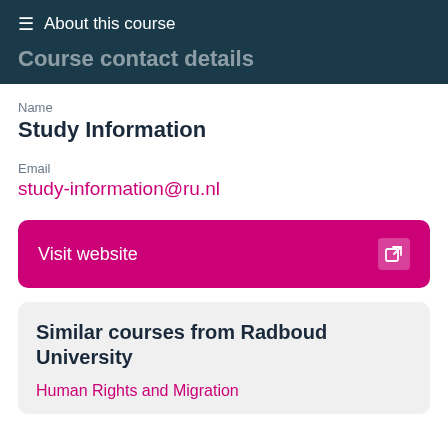≡ About this course
Course contact details
Name
Study Information
Email
study-information@ru.nl
Visit website
Similar courses from Radboud University
Human Rights and Migration